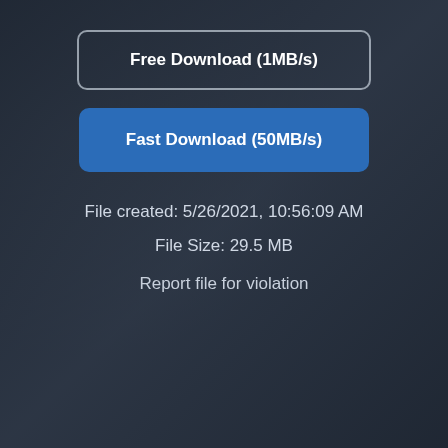Free Download (1MB/s)
Fast Download (50MB/s)
File created: 5/26/2021, 10:56:09 AM
File Size: 29.5 MB
Report file for violation